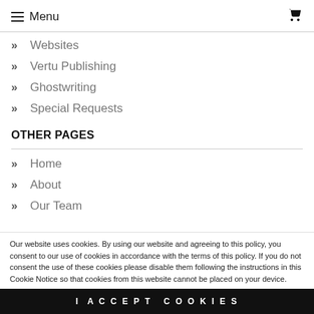≡ Menu
» Websites
» Vertu Publishing
» Ghostwriting
» Special Requests
OTHER PAGES
» Home
» About
» Our Team
Our website uses cookies. By using our website and agreeing to this policy, you consent to our use of cookies in accordance with the terms of this policy. If you do not consent the use of these cookies please disable them following the instructions in this Cookie Notice so that cookies from this website cannot be placed on your device.
I ACCEPT COOKIES